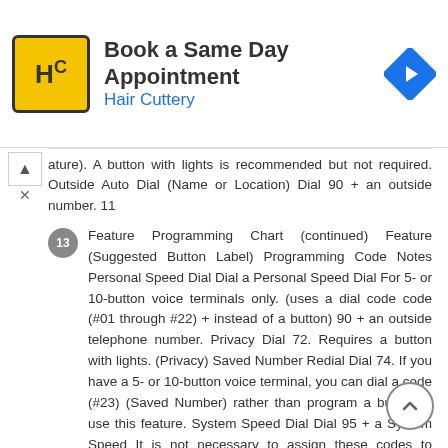[Figure (infographic): Advertisement banner for Hair Cuttery: 'Book a Same Day Appointment' with logo (HC on yellow background) and navigation icon]
ature). A button with lights is recommended but not required. Outside Auto Dial (Name or Location) Dial 90 + an outside number. 11
13 Feature Programming Chart (continued) Feature (Suggested Button Label) Programming Code Notes Personal Speed Dial Dial a Personal Speed Dial For 5- or 10-button voice terminals only. (uses a dial code code (#01 through #22) + instead of a button) 90 + an outside telephone number. Privacy Dial 72. Requires a button with lights. (Privacy) Saved Number Redial Dial 74. If you have a 5- or 10-button voice terminal, you can dial a code (#23) (Saved Number) rather than program a button to use this feature. System Speed Dial Dial 95 + a System Speed It is not necessary to assign these codes to buttons. (Name or Location) Dial code (60 through 99). Touch-Tone Enable Dial 76. (Touch-Tone Enable) 12